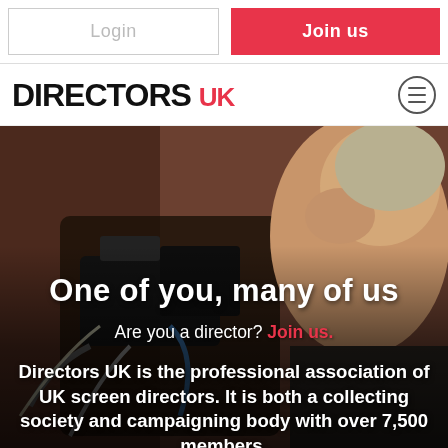Login | Join us
[Figure (logo): Directors UK logo with DIRECTORS in black bold uppercase and UK in red]
[Figure (photo): A film director looking through a camera viewfinder, with camera equipment in the foreground, blurred background]
One of you, many of us
Are you a director? Join us.
Directors UK is the professional association of UK screen directors. It is both a collecting society and campaigning body with over 7,500 members.